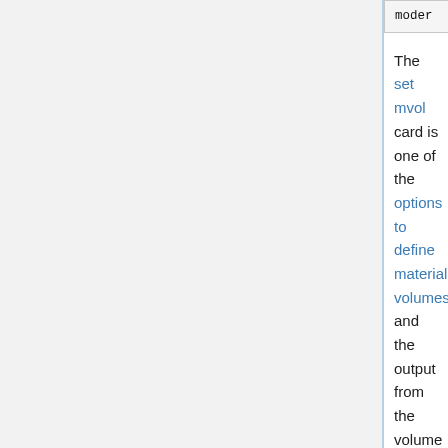| moder | 0 | 5.54508E+01 | % |
The set mvol card is one of the options to define material volumes and the output from the volume checker can be copy-pasted into the input or the entire file linked using the include command. The volume calculation routine can be run automatically using the set mcvol input option.
Checking for holes in STL geometries
Some consistency checks can be performed on STL type geometries using the "-checkstl" command line option. A number of random points are sampled in universes containing the STL solids, and number of rays started from each point. If the surfaces are intact, each ray